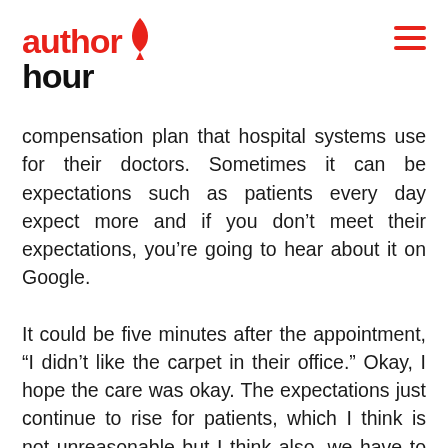author hour
compensation plan that hospital systems use for their doctors. Sometimes it can be expectations such as patients every day expect more and if you don't meet their expectations, you're going to hear about it on Google.
It could be five minutes after the appointment, “I didn’t like the carpet in their office.” Okay, I hope the care was okay. The expectations just continue to rise for patients, which I think is not unreasonable but I think also, we have to focus on what’s important.